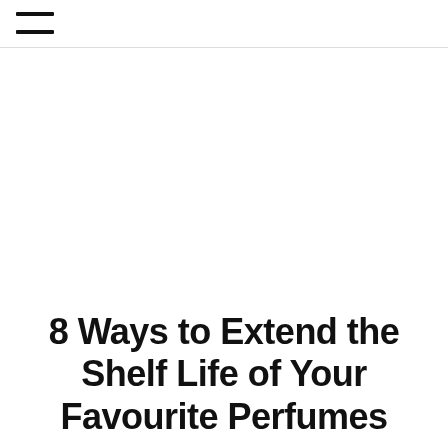≡
8 Ways to Extend the Shelf Life of Your Favourite Perfumes